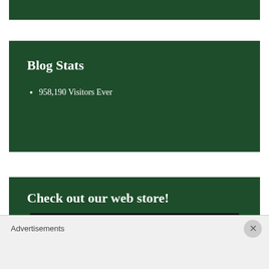Blog Stats
958,190 Visitors Ever
Check out our web store!
[Figure (photo): Dark/black image partial view in the web store section]
Advertisements